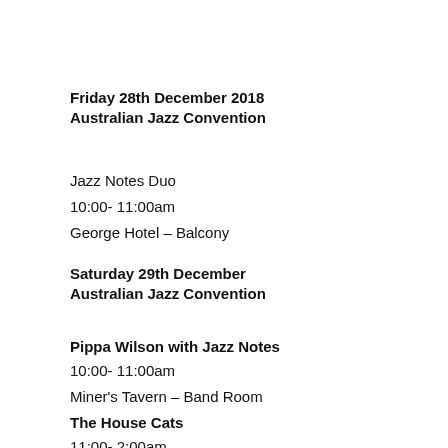Friday 28th December 2018
Australian Jazz Convention
Jazz Notes Duo
10:00- 11:00am
George Hotel – Balcony
Saturday 29th December
Australian Jazz Convention
Pippa Wilson with Jazz Notes
10:00- 11:00am
Miner's Tavern – Band Room
The House Cats
11:00- 2:00am